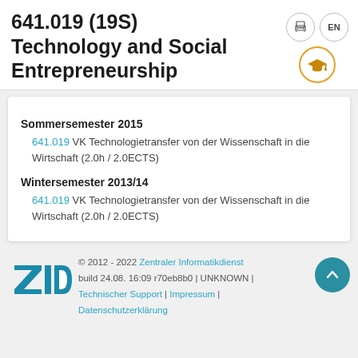641.019 (19S) Technology and Social Entrepreneurship
Sommersemester 2015
641.019 VK Technologietransfer von der Wissenschaft in die Wirtschaft (2.0h / 2.0ECTS)
Wintersemester 2013/14
641.019 VK Technologietransfer von der Wissenschaft in die Wirtschaft (2.0h / 2.0ECTS)
© 2012 - 2022 Zentraler Informatikdienst build 24.08. 16:09 r70eb8b0 | UNKNOWN | Technischer Support | Impressum | Datenschutzerklärung